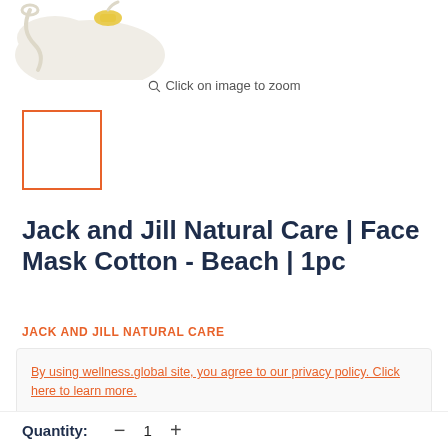[Figure (photo): Partial product image of Jack and Jill Natural Care face mask with string/loop visible at top left, on white background]
Click on image to zoom
[Figure (photo): Small thumbnail of product with orange border indicating selected state]
Jack and Jill Natural Care | Face Mask Cotton - Beach | 1pc
JACK AND JILL NATURAL CARE
By using wellness.global site, you agree to our privacy policy. Click here to learn more.
Agree
Quantity: − 1 +